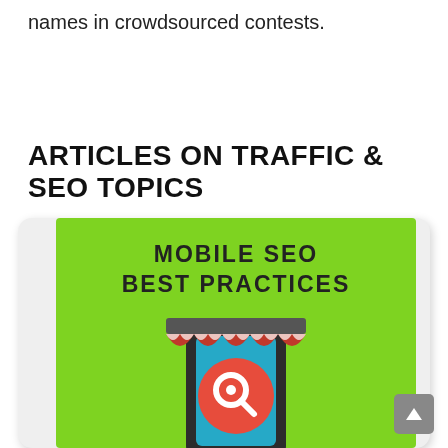names in crowdsourced contests.
ARTICLES ON TRAFFIC & SEO TOPICS
[Figure (illustration): A card/tile showing 'Mobile SEO Best Practices' with a storefront awning graphic on a green background, containing a mobile phone with a search/pin icon]